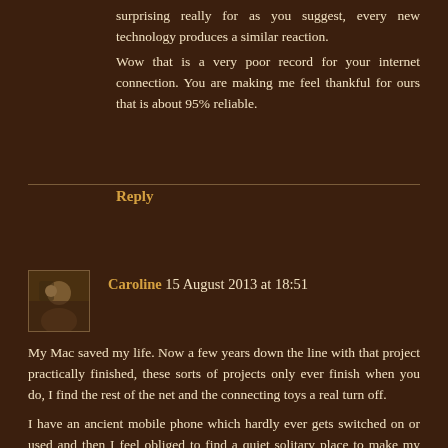surprising really for as you suggest, every new technology produces a similar reaction. Wow that is a very poor record for your internet connection. You are making me feel thankful for ours that is about 95% reliable.
Reply
Caroline  15 August 2013 at 18:51
My Mac saved my life. Now a few years down the line with that project practically finished, these sorts of projects only ever finish when you do, I find the rest of the net and the connecting toys a real turn off.
I have an ancient mobile phone which hardly ever gets switched on or used and then I feel obliged to find a quiet solitary place to make my "private" call. What on earth would I want to carry about an expensive and delicate miniature computer with a screen too small to see? When pads were first announced I thought that I would be